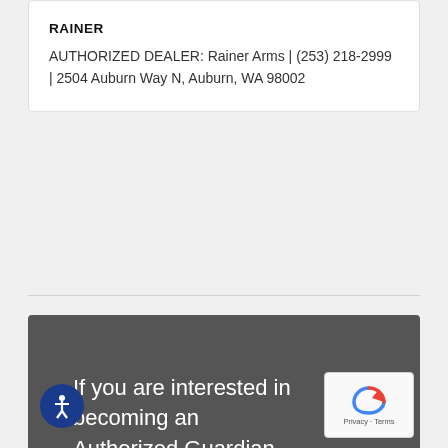RAINER
AUTHORIZED DEALER: Rainer Arms | (253) 218-2999 | 2504 Auburn Way N, Auburn, WA 98002
If you are interested in becoming an Authorized Guardian Tactical Dealer, please fill out the